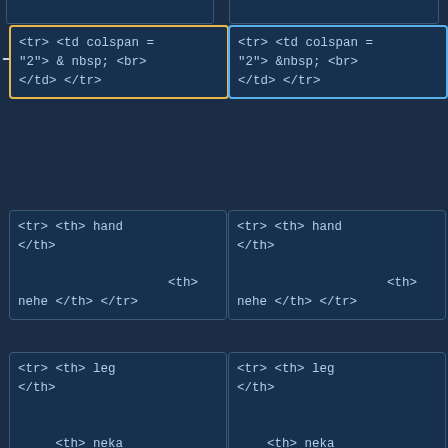[Figure (screenshot): Code diff view showing two columns of HTML code snippets. Left column has a yellow-bordered box with '<tr> <td colspan = "2"> & nbsp; <br> </td> </tr>' and right column has a blue-bordered box with the same content but '&nbsp;' instead. Below are pairs of code boxes showing '<tr> <th> hand </th>' with '<th> nehe </th> </tr>', '<tr> <th> leg </th>' with '<th> neka </th> </tr>', and 'Line 145:'/'Line 147:' labels followed by '<tr> <th> finger </th>' boxes.]